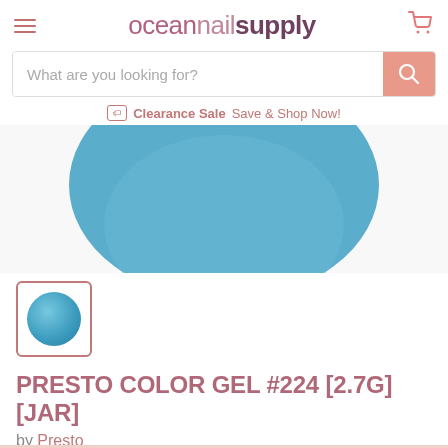oceannailsupply
What are you looking for?
Clearance Sale Save & Shop Now!
[Figure (photo): Close-up top-down view of an open jar of Presto Color Gel #224, showing a muted sky-blue gel color]
[Figure (photo): Small thumbnail swatch of Presto Color Gel #224, a mid-tone blue gel polish, shown as a circle inside a bordered box]
PRESTO COLOR GEL #224 [2.7G] [JAR]
by Presto